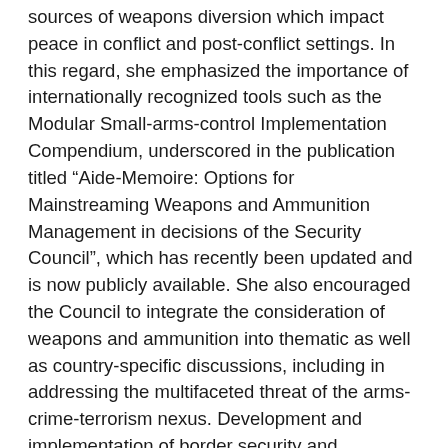sources of weapons diversion which impact peace in conflict and post-conflict settings. In this regard, she emphasized the importance of internationally recognized tools such as the Modular Small-arms-control Implementation Compendium, underscored in the publication titled “Aide-Memoire: Options for Mainstreaming Weapons and Ammunition Management in decisions of the Security Council”, which has recently been updated and is now publicly available. She also encouraged the Council to integrate the consideration of weapons and ammunition into thematic as well as country-specific discussions, including in addressing the multifaceted threat of the arms-crime-terrorism nexus. Development and implementation of border security and management strategies as well as enhanced stockpile management are effective in disrupting the supply of such weapons to terrorists, she said. Moreover, thematic discussions on issues such as children in armed conflict and the women, peace and security agenda are also